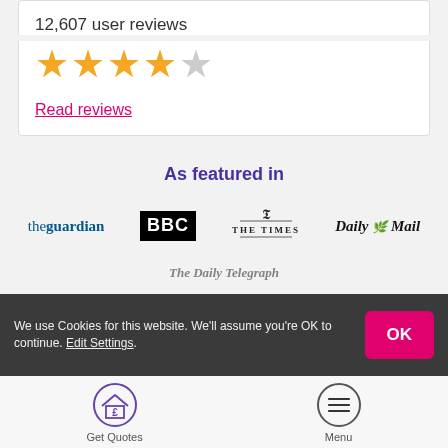12,607 user reviews
[Figure (other): 4.5 out of 5 stars rating (4 gold stars and 1 grey star)]
Read reviews
As featured in
[Figure (logo): The Guardian logo]
[Figure (logo): BBC logo]
[Figure (logo): The Times logo with crest]
[Figure (logo): Daily Mail logo]
We use Cookies for this website. We'll assume you're OK to continue. Edit Settings.
OK
[Figure (other): Get Quotes icon - house with pound sign in circle]
Get Quotes
[Figure (other): Menu icon - three horizontal lines in circle]
Menu